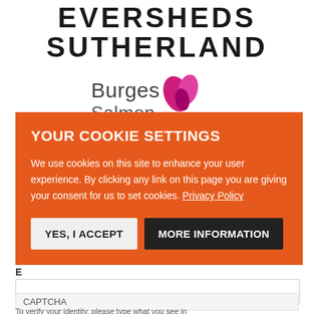[Figure (logo): Eversheds Sutherland law firm logo — large bold uppercase black text on white background]
[Figure (logo): Burges Salmon law firm logo with pink/magenta leaf graphic icon next to the name text]
[Figure (screenshot): Cookie consent banner overlay with orange background. Title: YOUR COOKIE SETTINGS. Body text about cookie usage and privacy policy link. Two buttons: YES, I ACCEPT (light) and MORE INFORMATION (dark).]
J
E
CAPTCHA
To verify your identity, please type what you see in